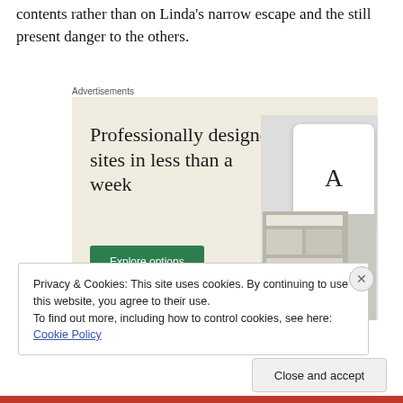contents rather than on Linda's narrow escape and the still present danger to the others.
Advertisements
[Figure (screenshot): Advertisement for website building service: 'Professionally designed sites in less than a week' with green 'Explore options' button and device mockup images showing website designs on a beige background.]
Privacy & Cookies: This site uses cookies. By continuing to use this website, you agree to their use.
To find out more, including how to control cookies, see here: Cookie Policy
Close and accept